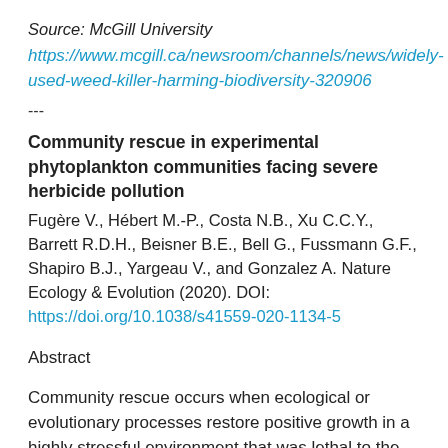Source: McGill University
https://www.mcgill.ca/newsroom/channels/news/widely-used-weed-killer-harming-biodiversity-320906
---
Community rescue in experimental phytoplankton communities facing severe herbicide pollution
Fugère V., Hébert M.-P., Costa N.B., Xu C.C.Y., Barrett R.D.H., Beisner B.E., Bell G., Fussmann G.F., Shapiro B.J., Yargeau V., and Gonzalez A. Nature Ecology & Evolution (2020). DOI: https://doi.org/10.1038/s41559-020-1134-5
Abstract
Community rescue occurs when ecological or evolutionary processes restore positive growth in a highly stressful environment that was lethal to the community in its ancestral form, thus averting biomass collapse in a deteriorating environment. Laboratory